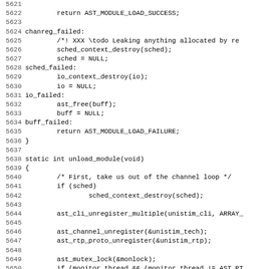[Figure (screenshot): Source code listing in monospace font showing lines 5621-5652 of a C program, including chanreg_failed, sched_failed, io_failed, buff_failed labels and unload_module function definition with scheduler, CLI, channel, RTP, and mutex operations.]